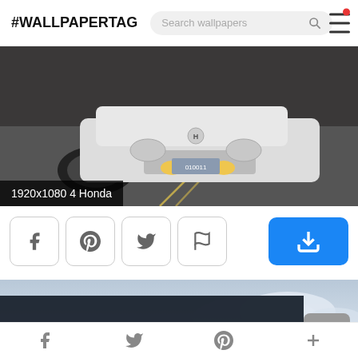#WALLPAPERTAG  [Search wallpapers]
[Figure (photo): Front view of a white Honda sports car on a road, low angle, with yellow fog lights on. Label reads '1920x1080 4 Honda']
1920x1080 4 Honda
[Figure (screenshot): Action buttons row: Facebook, Pinterest, Twitter, Flag icons (outlined boxes), and a blue Download button with download icon]
[Figure (photo): Partial second wallpaper image showing a light blue/grey sky landscape]
This website uses cookies.  Learn more
Got it!
Facebook  Twitter  Pinterest  +